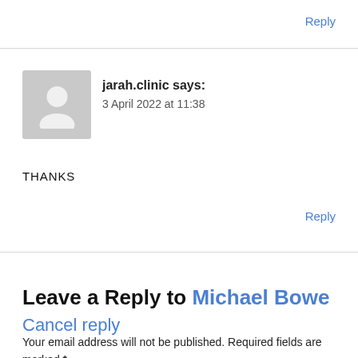Reply
jarah.clinic says:
3 April 2022 at 11:38
THANKS
Reply
Leave a Reply to Michael Bowe Cancel reply
Your email address will not be published. Required fields are marked *